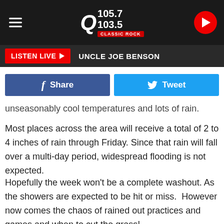[Figure (screenshot): Radio station header bar for Q105.7/103.5 Classic Rock with hamburger menu, logo, and play button]
LISTEN LIVE ▶  UNCLE JOE BENSON
[Figure (screenshot): Facebook Share and Twitter Tweet social sharing buttons]
unseasonably cool temperatures and lots of rain.
Most places across the area will receive a total of 2 to 4 inches of rain through Friday. Since that rain will fall over a multi-day period, widespread flooding is not expected.
Hopefully the week won't be a complete washout. As the showers are expected to be hit or miss.  However now comes the chaos of rained out practices and games and when to cut the grass!
Thanks a lot mother nature,  please bring back the nice